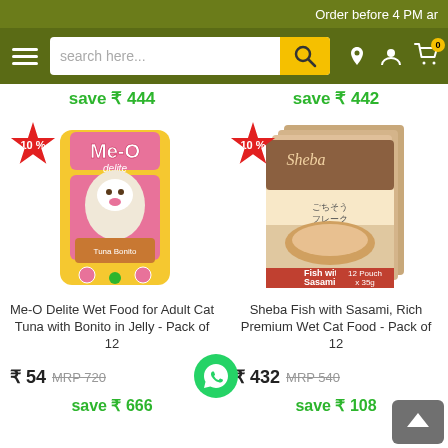Order before 4 PM ar
search here... [search bar with magnifier] [location icon] [user icon] [cart 0]
save ₹ 444
save ₹ 442
[Figure (photo): Me-O Delite Wet Food pouch product image with 10% discount badge]
[Figure (photo): Sheba Fish with Sasami Rich Premium Wet Cat Food 12 Pouch x 35g product image with 10% discount badge]
Me-O Delite Wet Food for Adult Cat Tuna with Bonito in Jelly - Pack of 12
Sheba Fish with Sasami, Rich Premium Wet Cat Food - Pack of 12
₹ 54 MRP 720
₹ 432 MRP 540
save ₹ 666
save ₹ 108
[Figure (logo): WhatsApp green button icon]
[Figure (other): Back to top arrow button]